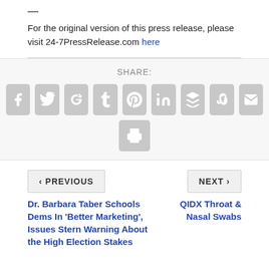— For the original version of this press release, please visit 24-7PressRelease.com here
[Figure (infographic): SHARE section with social media icon buttons: Facebook, Twitter, Google+, Tumblr, Pinterest, LinkedIn, Buffer, StumbleUpon, Email, and Print]
< PREVIOUS
NEXT >
Dr. Barbara Taber Schools Dems In 'Better Marketing', Issues Stern Warning About the High Election Stakes
QIDX Throat & Nasal Swabs